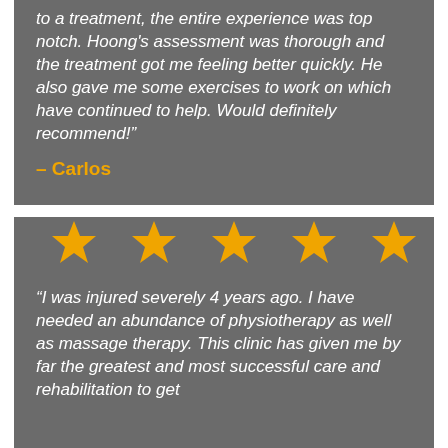to a treatment, the entire experience was top notch. Hoong's assessment was thorough and the treatment got me feeling better quickly. He also gave me some exercises to work on which have continued to help. Would definitely recommend!"
– Carlos
[Figure (other): Five gold/orange star rating icons in a row]
"I was injured severely 4 years ago. I have needed an abundance of physiotherapy as well as massage therapy. This clinic has given me by far the greatest and most successful care and rehabilitation to get